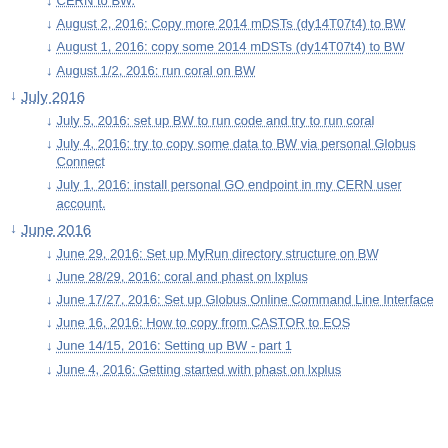CERN to BW.
August 2, 2016: Copy more 2014 mDSTs (dy14T07t4) to BW
August 1, 2016: copy some 2014 mDSTs (dy14T07t4) to BW
August 1/2, 2016: run coral on BW
July 2016
July 5, 2016: set up BW to run code and try to run coral
July 4, 2016: try to copy some data to BW via personal Globus Connect
July 1, 2016: install personal GO endpoint in my CERN user account.
June 2016
June 29, 2016: Set up MyRun directory structure on BW
June 28/29, 2016: coral and phast on lxplus
June 17/27, 2016: Set up Globus Online Command Line Interface
June 16, 2016: How to copy from CASTOR to EOS
June 14/15, 2016: Setting up BW - part 1
June 4, 2016: Getting started with phast on lxplus